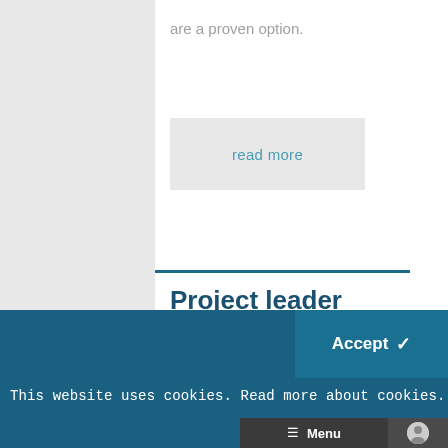are a proven option.
read more
Project leader
This website uses cookies. Read more about cookies.
Accept ✓
Menu